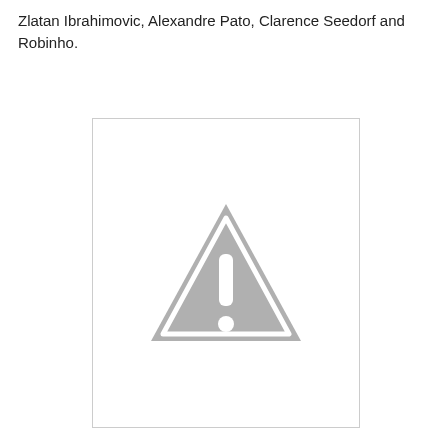Zlatan Ibrahimovic, Alexandre Pato, Clarence Seedorf and Robinho.
[Figure (other): Placeholder image with a grey warning triangle/exclamation mark icon on a white background with a light grey border, indicating a missing or unavailable image.]